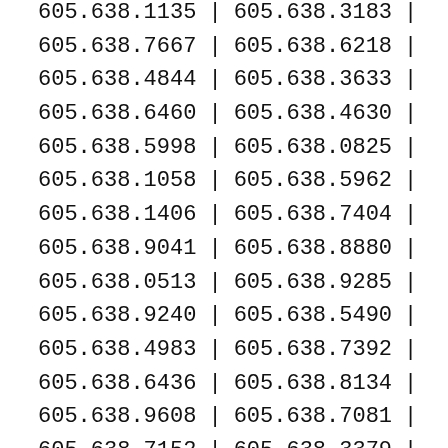| col1 | col2 |
| --- | --- |
| 605.638.1135 | 605.638.3183 |
| 605.638.7667 | 605.638.6218 |
| 605.638.4844 | 605.638.3633 |
| 605.638.6460 | 605.638.4630 |
| 605.638.5998 | 605.638.0825 |
| 605.638.1058 | 605.638.5962 |
| 605.638.1406 | 605.638.7404 |
| 605.638.9041 | 605.638.8880 |
| 605.638.0513 | 605.638.9285 |
| 605.638.9240 | 605.638.5490 |
| 605.638.4983 | 605.638.7392 |
| 605.638.6436 | 605.638.8134 |
| 605.638.9608 | 605.638.7081 |
| 605.638.7152 | 605.638.3379 |
| 605.638.5821 | 605.638.7405 |
| 605.638.0677 | 605.638.7872 |
| 605.638.4128 | 605.638.0504 |
| 605.638.5922 | 605.638.0965 |